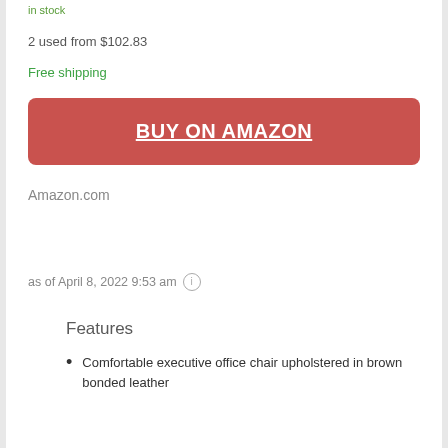in stock
2 used from $102.83
Free shipping
BUY ON AMAZON
Amazon.com
as of April 8, 2022 9:53 am
Features
Comfortable executive office chair upholstered in brown bonded leather